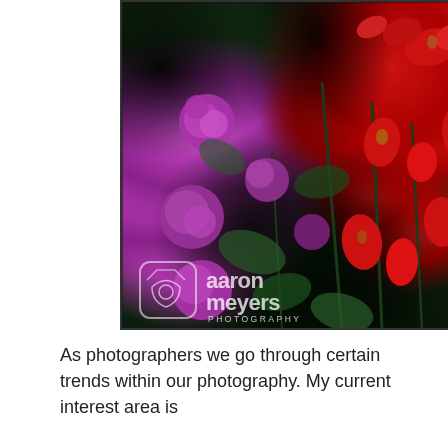[Figure (photo): Close-up photograph of wildflowers with vibrant red Indian paintbrush flowers on the right and purple/pink globe-shaped flowers (likely spirea) on the left, set against a lush dark green foliage background. A watermark in the lower-left corner reads 'aaron meyers PHOTOGRAPHY' with a logo icon.]
As photographers we go through certain trends within our photography. My current interest area is